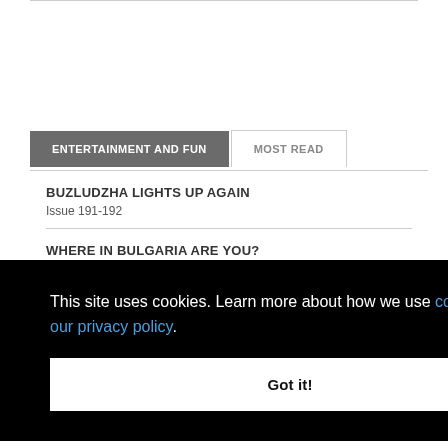ENTERTAINMENT AND FUN
MOST READ
BUZLUDZHA LIGHTS UP AGAIN
Issue 191-192
WHERE IN BULGARIA ARE YOU?
Issue 191-192
This site uses cookies. Learn more about how we use cookies and our privacy policy.
Got it!